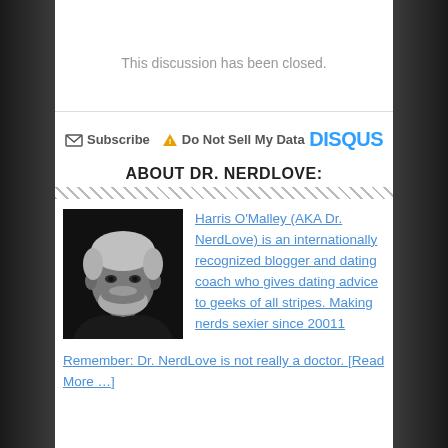This discussion has been closed.
✉ Subscribe  ⚠ Do Not Sell My Data   DISQUS
ABOUT DR. NERDLOVE:
[Figure (photo): Black and white portrait photo of Harris O'Malley (Dr. NerdLove), a man with short blond/light hair and a beard wearing a dark shirt]
Harris O'Malley (AKA Dr. NerdLove) is an internationally recognized blogger and dating coach who gives dating advice to geeks of all stripes. Making nerds sexier since 20011
Remember: Dr. NerdLove is not really a doctor. [Read More …]